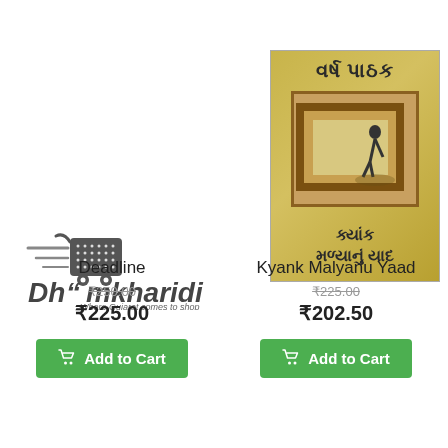[Figure (logo): Dhoomkharidi logo with shopping cart graphic and tagline 'Where Gujarat comes to shop']
[Figure (photo): Book cover of 'Kyank Malyanu Yaad' by Varsha Pathak in Gujarati, showing a golden/beige background with a decorative picture frame and a silhouette figure]
Deadline
₹250.00 (original price, strikethrough)
₹225.00
Add to Cart
Kyank Malyanu Yaad
₹225.00 (original price, strikethrough)
₹202.50
Add to Cart